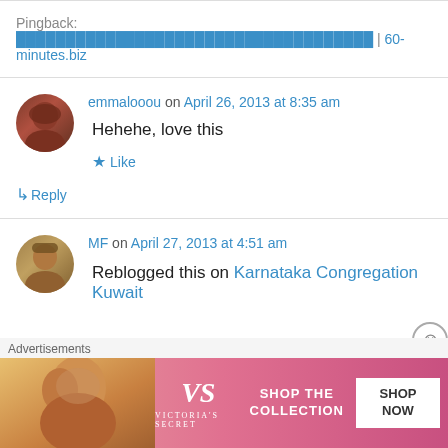Pingback: ████████████████████████████████████ | 60-minutes.biz
emmalooou on April 26, 2013 at 8:35 am
Hehehe, love this
★ Like
↳ Reply
MF on April 27, 2013 at 4:51 am
Reblogged this on Karnataka Congregation Kuwait
Advertisements